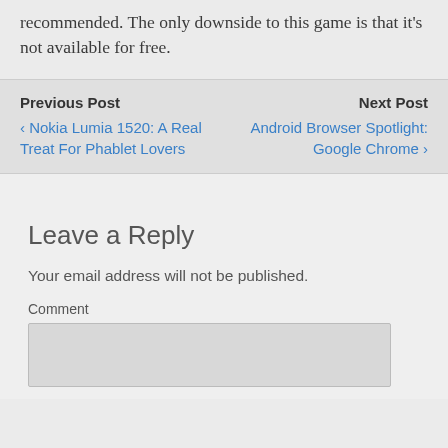recommended. The only downside to this game is that it's not available for free.
Previous Post
‹ Nokia Lumia 1520: A Real Treat For Phablet Lovers
Next Post
Android Browser Spotlight: Google Chrome ›
Leave a Reply
Your email address will not be published.
Comment